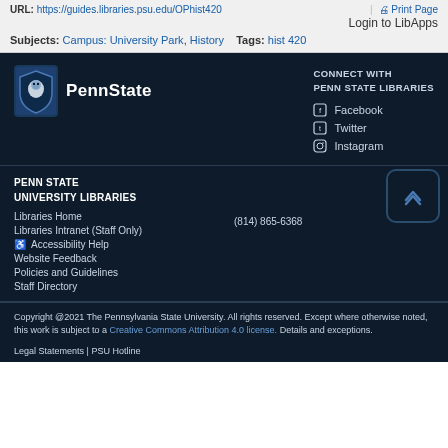URL: https://guides.libraries.psu.edu/OPhist420 | Print Page Login to LibApps
Subjects: Campus: University Park, History  Tags: hist 420
[Figure (logo): Penn State University Libraries logo with lion shield icon and PennState wordmark in white on dark background]
CONNECT WITH PENN STATE LIBRARIES
Facebook
Twitter
Instagram
PENN STATE UNIVERSITY LIBRARIES
Libraries Home
(814) 865-6368
Libraries Intranet (Staff Only)
Accessibility Help
Website Feedback
Policies and Guidelines
Staff Directory
Copyright @2021 The Pennsylvania State University. All rights reserved. Except where otherwise noted, this work is subject to a Creative Commons Attribution 4.0 license. Details and exceptions.

Legal Statements | PSU Hotline